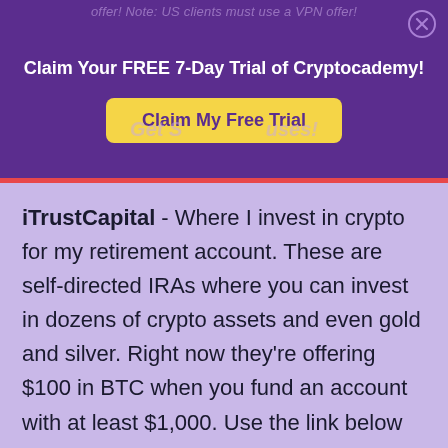offer! Note: US clients must use a VPN offer!
Claim Your FREE 7-Day Trial of Cryptocademy!
[Figure (other): Yellow button with purple text reading 'Claim My Free Trial']
iTrustCapital - Where I invest in crypto for my retirement account. These are self-directed IRAs where you can invest in dozens of crypto assets and even gold and silver. Right now they're offering $100 in BTC when you fund an account with at least $1,000. Use the link below to claim this offer.